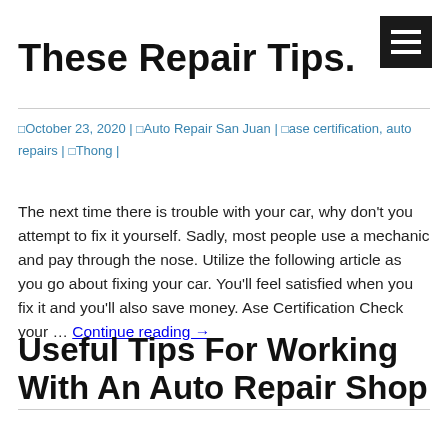[Figure (other): Hamburger menu icon (dark square with three white horizontal lines) in top right corner]
These Repair Tips.
October 23, 2020 | Auto Repair San Juan | ase certification, auto repairs | Thong
The next time there is trouble with your car, why don't you attempt to fix it yourself. Sadly, most people use a mechanic and pay through the nose. Utilize the following article as you go about fixing your car. You'll feel satisfied when you fix it and you'll also save money. Ase Certification Check your … Continue reading →
Useful Tips For Working With An Auto Repair Shop